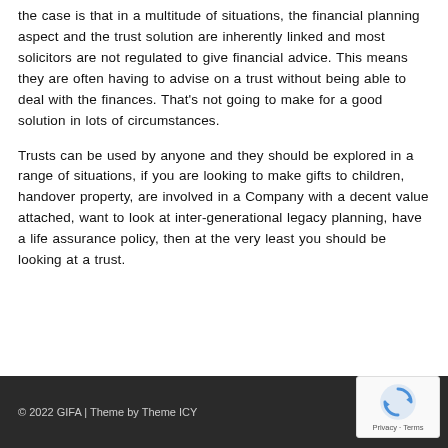the case is that in a multitude of situations, the financial planning aspect and the trust solution are inherently linked and most solicitors are not regulated to give financial advice. This means they are often having to advise on a trust without being able to deal with the finances. That's not going to make for a good solution in lots of circumstances.
Trusts can be used by anyone and they should be explored in a range of situations, if you are looking to make gifts to children, handover property, are involved in a Company with a decent value attached, want to look at inter-generational legacy planning, have a life assurance policy, then at the very least you should be looking at a trust.
© 2022 GIFA | Theme by Theme ICY